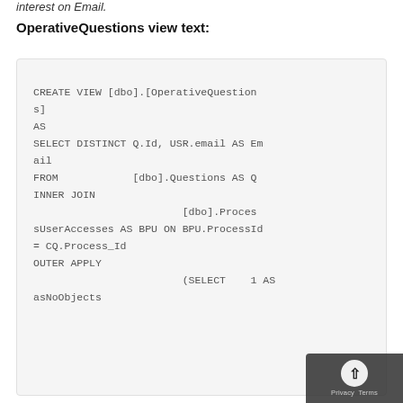interest on Email.
OperativeQuestions view text:
CREATE VIEW [dbo].[OperativeQuestions]
AS
SELECT DISTINCT Q.Id, USR.email AS Email
FROM            [dbo].Questions AS Q
INNER JOIN
                            [dbo].ProcessUserAccesses AS BPU ON BPU.ProcessId = CQ.Process_Id
OUTER APPLY
                        (SELECT    1 AS asNoObjects